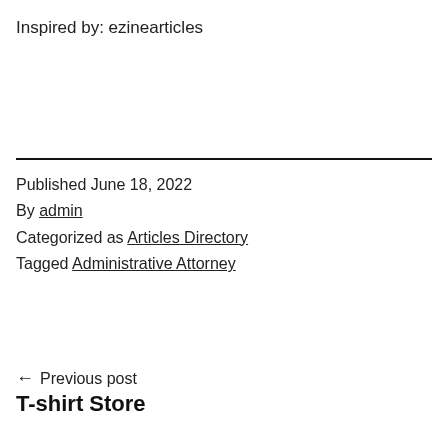Inspired by: ezinearticles
Published June 18, 2022
By admin
Categorized as Articles Directory
Tagged Administrative Attorney
← Previous post
T-shirt Store